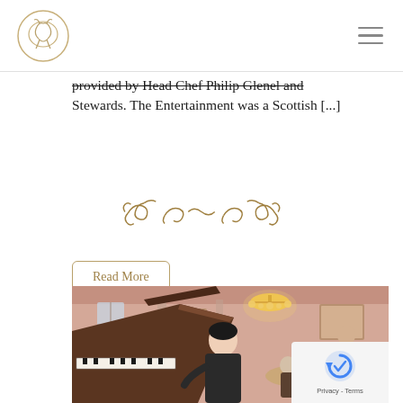Logo and navigation menu
provided by Head Chef Philip Glenel and Stewards. The Entertainment was a Scottish [...]
Read More
[Figure (illustration): Decorative ornamental scroll divider in gold/brown tones]
[Figure (photo): Interior of an elegant dining room with grand piano in foreground, chandelier, pink walls, people seated at tables]